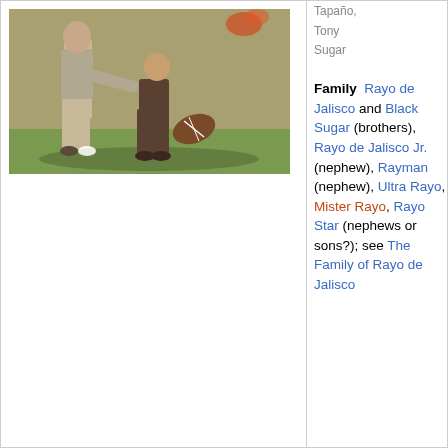[Figure (photo): Black and white photograph of a wrestling or sports scene showing two people crouching near a football, wearing old-fashioned sports attire.]
Family  Rayo de Jalisco and Black Sugar (brothers), Rayo de Jalisco Jr. (nephew), Rayman (nephew), Ultra Rayo, Mister Rayo, Rayo Star (nephews or sons?); see The Family of Rayo de Jalisco